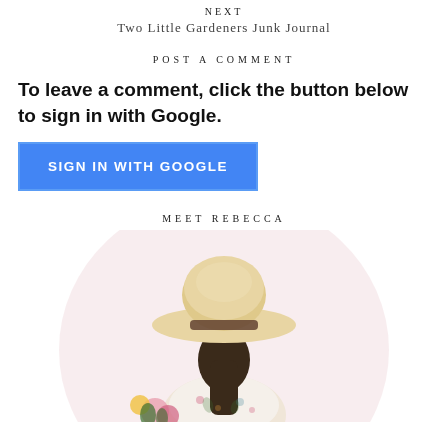NEXT
Two Little Gardeners Junk Journal
POST A COMMENT
To leave a comment, click the button below to sign in with Google.
[Figure (other): Blue 'SIGN IN WITH GOOGLE' button]
MEET REBECCA
[Figure (illustration): Illustration of a woman seen from behind wearing a large sun hat and floral outfit, holding flowers, with a soft pink circular background]